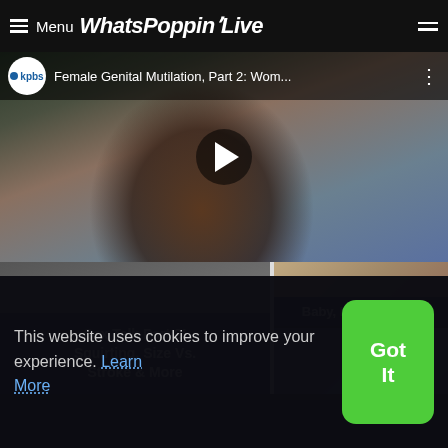≡ Menu WhatsPoppinLive
[Figure (screenshot): YouTube-style video thumbnail showing a KPBS video titled 'Female Genital Mutilation, Part 2: Wom...' with a play button overlay]
Sex Talk Part 2! Squirting, Size Vs. Stroke & More
Baby, I've Changed
This website uses cookies to improve your experience. Learn More
Got It